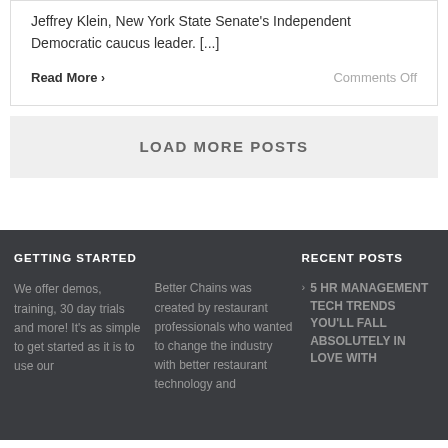Jeffrey Klein, New York State Senate's Independent Democratic caucus leader. [...]
Read More >
Comments Off
LOAD MORE POSTS
GETTING STARTED
We offer demos, training, 30 day trials and more! It's as simple to get started as it is to use our
Better Chains was created by restaurant professionals who wanted to change the industry with better restaurant technology and
RECENT POSTS
5 HR MANAGEMENT TECH TRENDS YOU'LL FALL ABSOLUTELY IN LOVE WITH